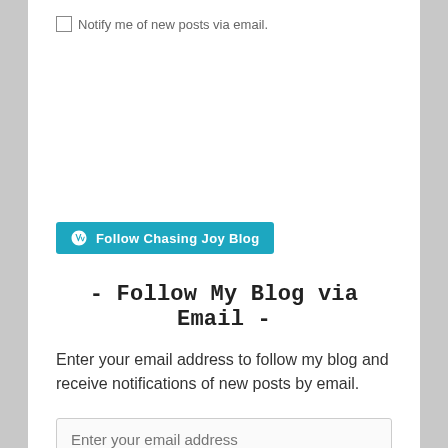Notify me of new posts via email.
[Figure (other): WordPress Follow button: teal rounded button with WordPress logo and text 'Follow Chasing Joy Blog']
- Follow My Blog via Email -
Enter your email address to follow my blog and receive notifications of new posts by email.
Enter your email address
FOLLOW MY BLOG
Join 106 other followers